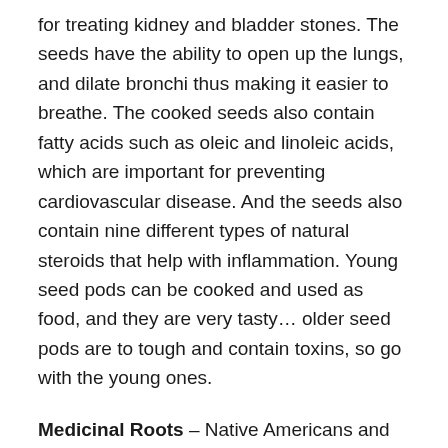for treating kidney and bladder stones. The seeds have the ability to open up the lungs, and dilate bronchi thus making it easier to breathe. The cooked seeds also contain fatty acids such as oleic and linoleic acids, which are important for preventing cardiovascular disease. And the seeds also contain nine different types of natural steroids that help with inflammation. Young seed pods can be cooked and used as food, and they are very tasty… older seed pods are to tough and contain toxins, so go with the young ones.
Medicinal Roots – Native Americans and early settlers in the US, and the Europeans all came to know about the amazing qualities of milkweed root… or what some call pleurisy root. And pleurisy root has long been used as a powerful diuretic, a good laxative, as a anti-spasmodic, a good expectorant and cough medicine, a soothing and